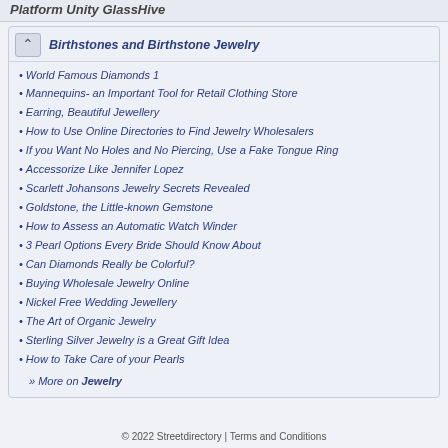Platform Unity GlassHive
Birthstones and Birthstone Jewelry
World Famous Diamonds 1
Mannequins- an Important Tool for Retail Clothing Store
Earring, Beautiful Jewellery
How to Use Online Directories to Find Jewelry Wholesalers
If you Want No Holes and No Piercing, Use a Fake Tongue Ring
Accessorize Like Jennifer Lopez
Scarlett Johansons Jewelry Secrets Revealed
Goldstone, the Little-known Gemstone
How to Assess an Automatic Watch Winder
3 Pearl Options Every Bride Should Know About
Can Diamonds Really be Colorful?
Buying Wholesale Jewelry Online
Nickel Free Wedding Jewellery
The Art of Organic Jewelry
Sterling Silver Jewelry is a Great Gift Idea
How to Take Care of your Pearls
» More on Jewelry
© 2022 Streetdirectory | Terms and Conditions